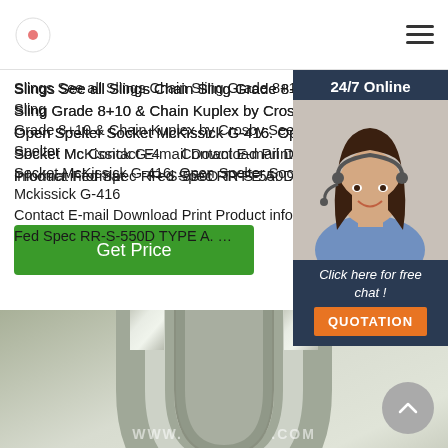Logo and navigation header
Slings See all Slings Chain Sling Grade 8+10 … Chain Sling Grade 8+10 & Chain Kuplex by Crosby See » … Open Spelter Socket McKissick G-416. Open Spelter Socket McKissick G-416 Contact E-mail Download Print Product information Fed Spec RR-S-550D TYPE A. …
[Figure (screenshot): Green 'Get Price' button]
[Figure (photo): Customer support agent photo with 24/7 Online chat widget overlay showing 'Click here for free chat!' and QUOTATION button]
[Figure (photo): Close-up photo of a galvanized wire rope clip/clamp hardware product]
WWW.[DOMAIN].COM watermark at bottom